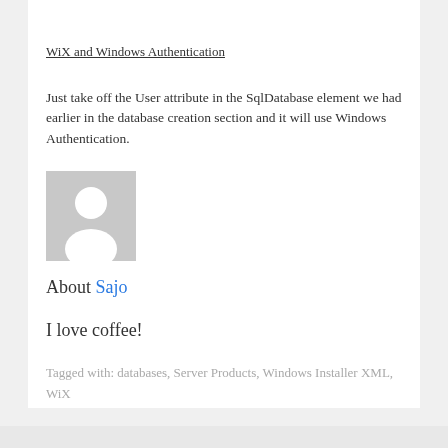WiX and Windows Authentication
Just take off the User attribute in the SqlDatabase element we had earlier in the database creation section and it will use Windows Authentication.
[Figure (photo): Generic user avatar placeholder image — grey background with white silhouette of a person]
About Sajo
I love coffee!
Tagged with: databases, Server Products, Windows Installer XML, WiX